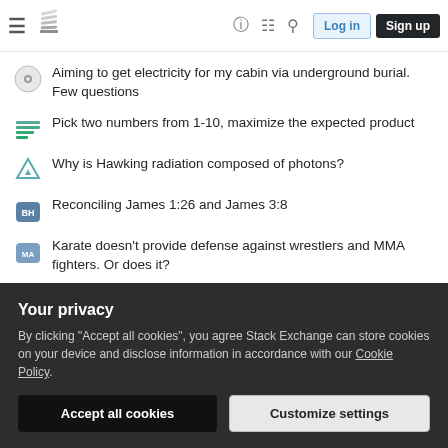Stack Exchange navigation bar with Log in and Sign up buttons
Aiming to get electricity for my cabin via underground burial. Few questions
Pick two numbers from 1-10, maximize the expected product
Why is Hawking radiation composed of photons?
Reconciling James 1:26 and James 3:8
Karate doesn't provide defense against wrestlers and MMA fighters. Or does it?
"Your saying so don't make it so" meaning and grammar
Once in a lifetime – A letter from Richard
Your privacy
By clicking "Accept all cookies", you agree Stack Exchange can store cookies on your device and disclose information in accordance with our Cookie Policy.
Accept all cookies | Customize settings